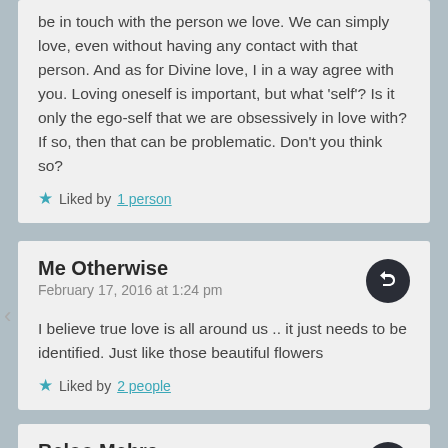be in touch with the person we love. We can simply love, even without having any contact with that person. And as for Divine love, I in a way agree with you. Loving oneself is important, but what 'self'? Is it only the ego-self that we are obsessively in love with? If so, then that can be problematic. Don't you think so?
Liked by 1 person
Me Otherwise
February 17, 2016 at 1:24 pm
I believe true love is all around us .. it just needs to be identified. Just like those beautiful flowers
Liked by 2 people
Beloo Mehra